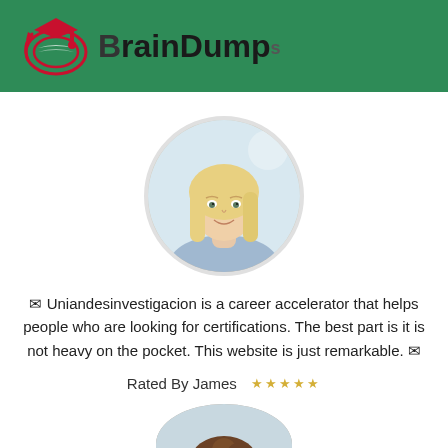[Figure (logo): BrainDumps logo with graduation cap icon and brand name on green header bar]
[Figure (photo): Circular profile photo of a smiling young blonde woman]
✉ Uniandesinvestigacion is a career accelerator that helps people who are looking for certifications. The best part is it is not heavy on the pocket. This website is just remarkable. ✉
Rated By James ★★★★★
[Figure (photo): Circular profile photo of a young man with curly brown hair, partially visible at bottom of page]